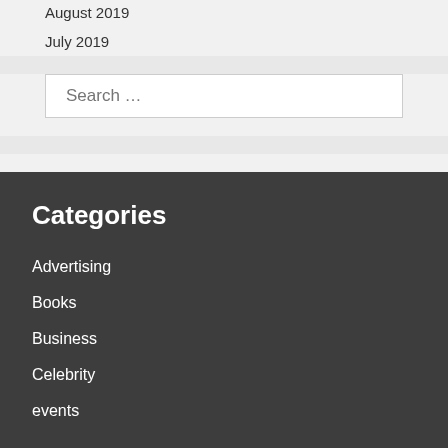August 2019
July 2019
Search …
Categories
Advertising
Books
Business
Celebrity
events